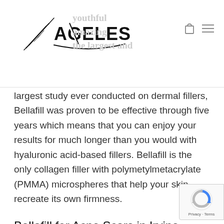AGELESS M.D.
largest study ever conducted on dermal fillers, Bellafill was proven to be effective through five years which means that you can enjoy your results for much longer than you would with hyaluronic acid-based fillers. Bellafill is the only collagen filler with polymetylmetacrylate (PMMA) microspheres that help your skin recreate its own firmness.
Bellafill for Acne Scars in Irvine, Orange County